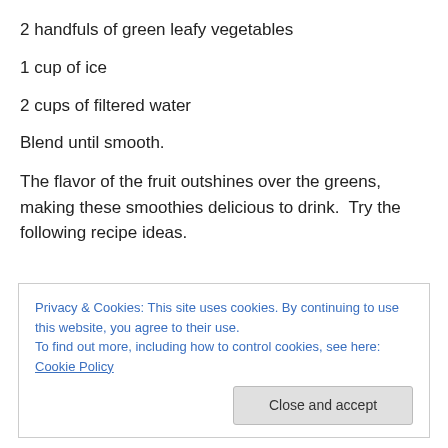2 handfuls of green leafy vegetables
1 cup of ice
2 cups of filtered water
Blend until smooth.
The flavor of the fruit outshines over the greens, making these smoothies delicious to drink.  Try the following recipe ideas.
Privacy & Cookies: This site uses cookies. By continuing to use this website, you agree to their use.
To find out more, including how to control cookies, see here: Cookie Policy